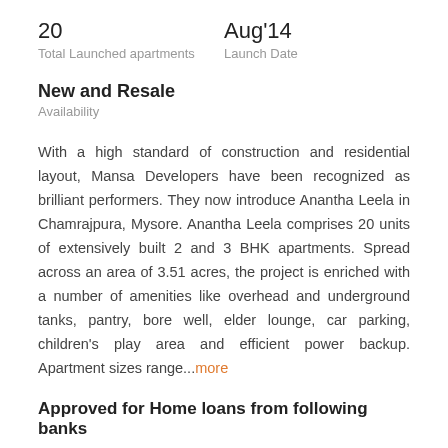20
Total Launched apartments
Aug'14
Launch Date
New and Resale
Availability
With a high standard of construction and residential layout, Mansa Developers have been recognized as brilliant performers. They now introduce Anantha Leela in Chamrajpura, Mysore. Anantha Leela comprises 20 units of extensively built 2 and 3 BHK apartments. Spread across an area of 3.51 acres, the project is enriched with a number of amenities like overhead and underground tanks, pantry, bore well, elder lounge, car parking, children's play area and efficient power backup. Apartment sizes range...more
Approved for Home loans from following banks
[Figure (logo): HDFC bank logo]